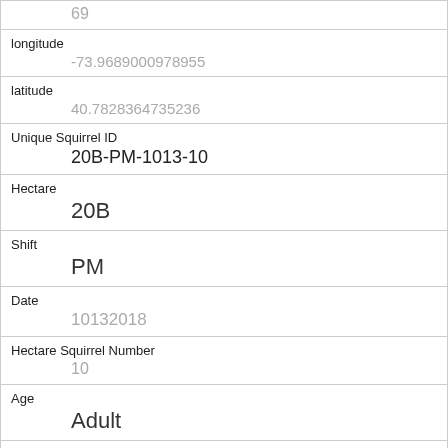| Field | Value |
| --- | --- |
|  | 69 |
| longitude | -73.9689000978955 |
| latitude | 40.7828364735236 |
| Unique Squirrel ID | 20B-PM-1013-10 |
| Hectare | 20B |
| Shift | PM |
| Date | 10132018 |
| Hectare Squirrel Number | 10 |
| Age | Adult |
| Primary Fur Color | Gray |
| Highlight Fur Color | White |